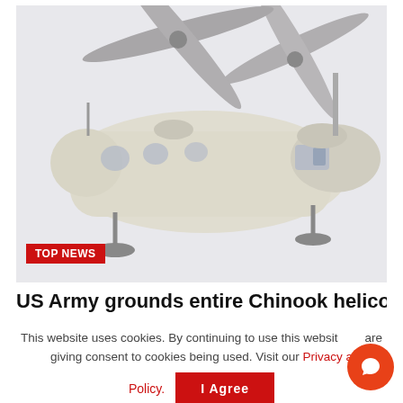[Figure (photo): A CH-47 Chinook military helicopter photographed against a light grey/white sky background. The large tandem-rotor helicopter is shown in a three-quarter view, colored in a pale tan/cream scheme. The image has a faded, washed-out appearance.]
TOP NEWS
US Army grounds entire Chinook helicopter fleet amid
This website uses cookies. By continuing to use this website are giving consent to cookies being used. Visit our Privacy a Policy.